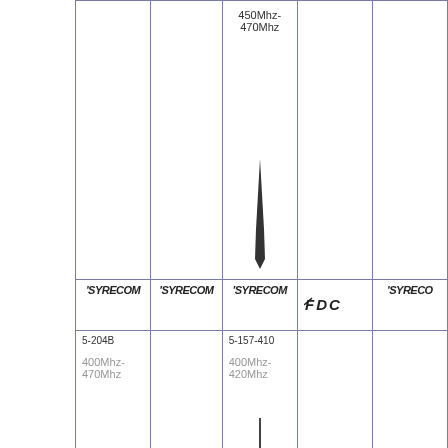[Figure (table-as-image): Product catalog table showing antenna models with frequency ranges and brand logos. Top section shows antenna with 450Mhz-470Mhz. Logo row shows SYRECOM, SYRECOM, SYRECOM, FDC, SYRECO brands. Bottom section shows models 5-204B (400Mhz-470Mhz) and 5-157-410 (400Mhz-420Mhz).]